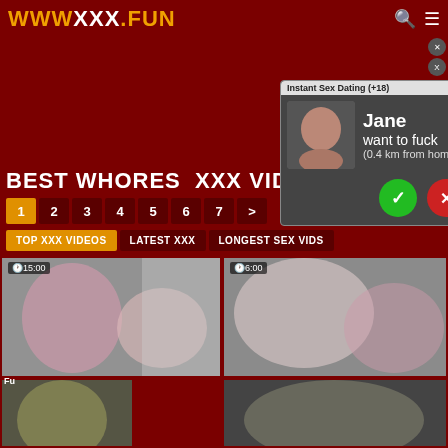WWW XXX .FUN
[Figure (screenshot): Popup ad: Instant Sex Dating (+18) with image and Jane want to fuck (0.4 km from home) message, yes/no buttons]
BEST WHORES  XXX VIDEO
1  2  3  4  5  6  7  >
TOP XXX VIDEOS   LATEST XXX   LONGEST SEX VIDS
[Figure (photo): Video thumbnail showing sexual content, duration 15:00]
[Figure (photo): Video thumbnail showing sexual content, duration 6:00]
Fu
[Figure (screenshot): Notification popup: Jessica from ashburn - She wants to have fun today]
[Figure (photo): Video thumbnail bottom left]
[Figure (photo): Video thumbnail bottom right]